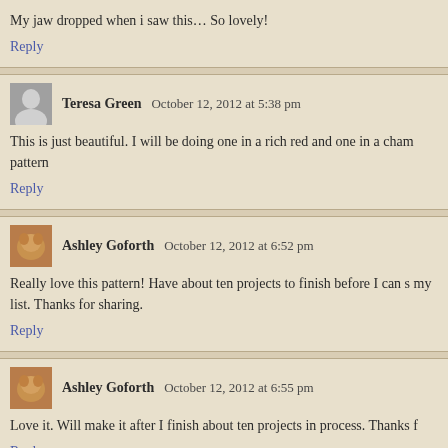My jaw dropped when i saw this… So lovely!
Reply
Teresa Green   October 12, 2012 at 5:38 pm
This is just beautiful. I will be doing one in a rich red and one in a champ pattern
Reply
Ashley Goforth   October 12, 2012 at 6:52 pm
Really love this pattern! Have about ten projects to finish before I can s my list. Thanks for sharing.
Reply
Ashley Goforth   October 12, 2012 at 6:55 pm
Love it. Will make it after I finish about ten projects in process. Thanks f
Reply